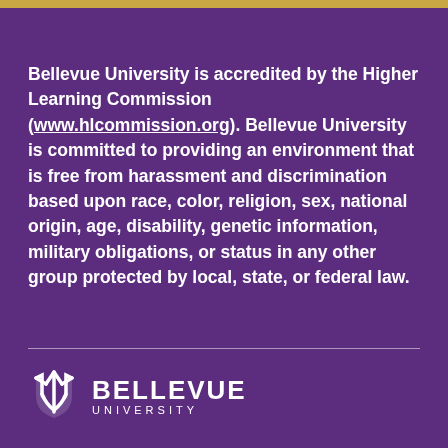Bellevue University is accredited by the Higher Learning Commission (www.hlcommission.org). Bellevue University is committed to providing an environment that is free from harassment and discrimination based upon race, color, religion, sex, national origin, age, disability, genetic information, military obligations, or status in any other group protected by local, state, or federal law.
[Figure (logo): Bellevue University shield logo with text BELLEVUE UNIVERSITY]